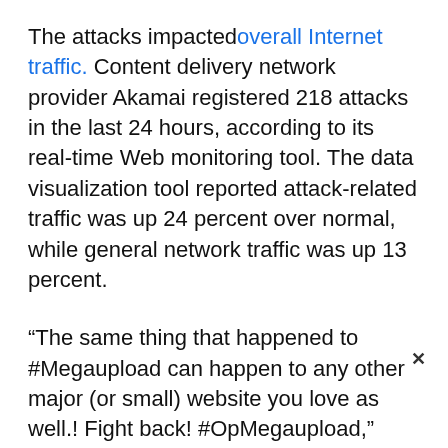The attacks impacted overall Internet traffic. Content delivery network provider Akamai registered 218 attacks in the last 24 hours, according to its real-time Web monitoring tool. The data visualization tool reported attack-related traffic was up 24 percent over normal, while general network traffic was up 13 percent.
“The same thing that happened to #Megaupload can happen to any other major (or small) website you love as well.! Fight back! #OpMegaupload,” AnonymousIRC posted on Twitter.
The Megaupload shutdown came just a day after various groups and companies participated in a 24-hour Internet strike, where several thousand Websites voluntarily took themselves offline to protest two controversial anti-piracy bills unc [believe] the broa [make it